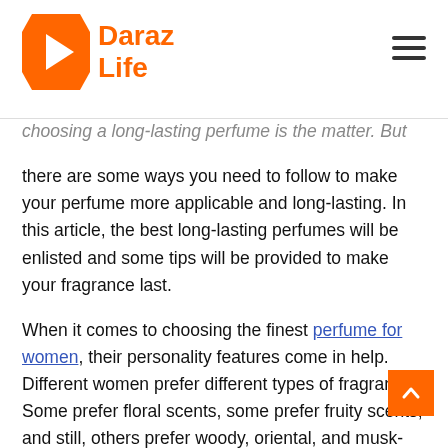Daraz Life
choosing a long-lasting perfume is the matter. But there are some ways you need to follow to make your perfume more applicable and long-lasting. In this article, the best long-lasting perfumes will be enlisted and some tips will be provided to make your fragrance last.
When it comes to choosing the finest perfume for women, their personality features come in help. Different women prefer different types of fragrances. Some prefer floral scents, some prefer fruity scents, and still, others prefer woody, oriental, and musk-based perfumes.
It can take years to find the perfect fragrance, just as it